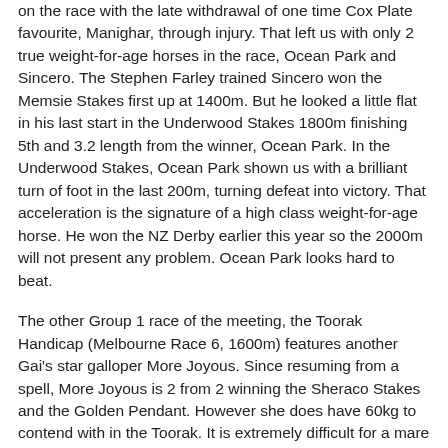on the race with the late withdrawal of one time Cox Plate favourite, Manighar, through injury. That left us with only 2 true weight-for-age horses in the race, Ocean Park and Sincero. The Stephen Farley trained Sincero won the Memsie Stakes first up at 1400m. But he looked a little flat in his last start in the Underwood Stakes 1800m finishing 5th and 3.2 length from the winner, Ocean Park. In the Underwood Stakes, Ocean Park shown us with a brilliant turn of foot in the last 200m, turning defeat into victory. That acceleration is the signature of a high class weight-for-age horse. He won the NZ Derby earlier this year so the 2000m will not present any problem. Ocean Park looks hard to beat.
The other Group 1 race of the meeting, the Toorak Handicap (Melbourne Race 6, 1600m) features another Gai's star galloper More Joyous. Since resuming from a spell, More Joyous is 2 from 2 winning the Sheraco Stakes and the Golden Pendant. However she does have 60kg to contend with in the Toorak. It is extremely difficult for a mare to carry that weight to win in open handicap. There is no doubt More Joyous is the best horse in the race but weight can stop a train. At $2.50, that could be too big a risk to take. The Queensland visitor, Solzenitsyn, could well